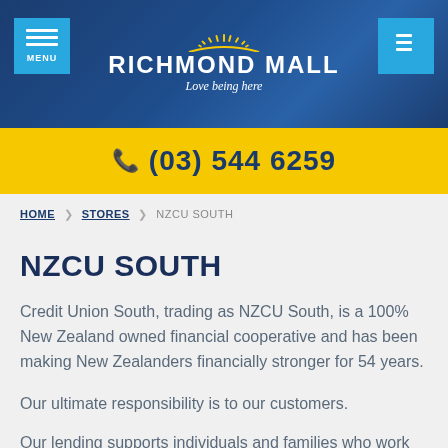[Figure (screenshot): Richmond Mall website header with dark blue background, hamburger menu button, search icon, Richmond Mall logo with sun graphic and 'Love being here' tagline]
(03) 544 6259
HOME ❯ STORES ❯ NZCU SOUTH
NZCU SOUTH
Credit Union South, trading as NZCU South, is a 100% New Zealand owned financial cooperative and has been making New Zealanders financially stronger for 54 years.
Our ultimate responsibility is to our customers.
Our lending supports individuals and families who work or